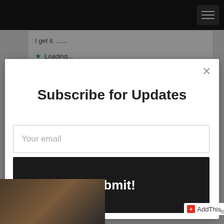Navigation bar with hamburger menu
I get it. ......
★ Loading...
Subscribe for Updates
Your email
Submit!
AddThis